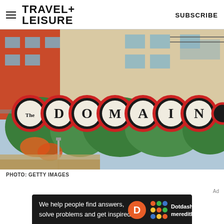TRAVEL+ LEISURE   SUBSCRIBE
[Figure (photo): Photo of The Domain sign - large red circular letter signs spelling 'The DOMAIN' mounted on a structure in front of buildings with trees and orange/red walls]
PHOTO: GETTY IMAGES
[Figure (infographic): Dotdash Meredith advertisement banner with text 'We help people find answers, solve problems and get inspired.' with D logo and colorful dots logo]